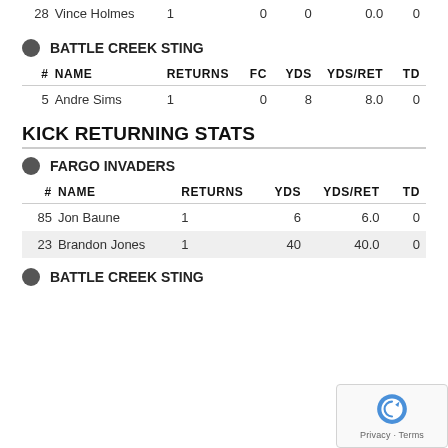| # | NAME | RETURNS | FC | YDS | YDS/RET | TD |
| --- | --- | --- | --- | --- | --- | --- |
| 28 | Vince Holmes | 1 | 0 | 0 | 0.0 | 0 |
BATTLE CREEK STING
| # | NAME | RETURNS | FC | YDS | YDS/RET | TD |
| --- | --- | --- | --- | --- | --- | --- |
| 5 | Andre Sims | 1 | 0 | 8 | 8.0 | 0 |
KICK RETURNING STATS
FARGO INVADERS
| # | NAME | RETURNS | YDS | YDS/RET | TD |
| --- | --- | --- | --- | --- | --- |
| 85 | Jon Baune | 1 | 6 | 6.0 | 0 |
| 23 | Brandon Jones | 1 | 40 | 40.0 | 0 |
BATTLE CREEK STING